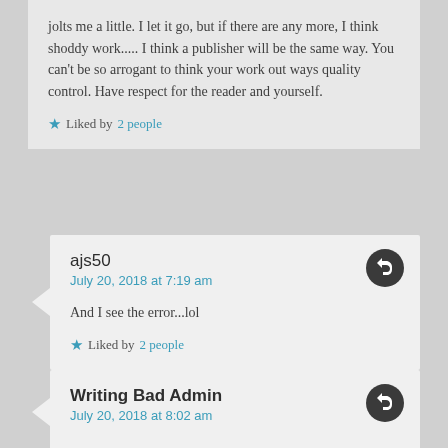jolts me a little. I let it go, but if there are any more, I think shoddy work..... I think a publisher will be the same way. You can't be so arrogant to think your work out ways quality control. Have respect for the reader and yourself.
★ Liked by 2 people
ajs50
July 20, 2018 at 7:19 am
And I see the error...lol
★ Liked by 2 people
Writing Bad Admin
July 20, 2018 at 8:02 am